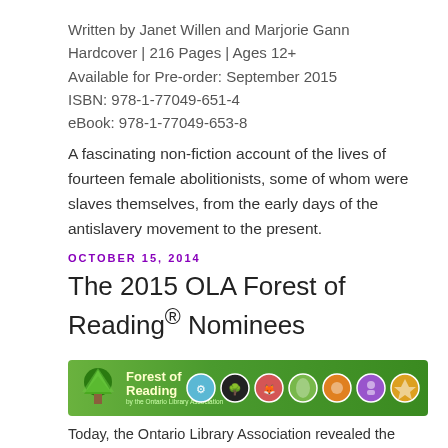Written by Janet Willen and Marjorie Gann
Hardcover | 216 Pages | Ages 12+
Available for Pre-order: September 2015
ISBN: 978-1-77049-651-4
eBook: 978-1-77049-653-8
A fascinating non-fiction account of the lives of fourteen female abolitionists, some of whom were slaves themselves, from the early days of the antislavery movement to the present.
OCTOBER 15, 2014
The 2015 OLA Forest of Reading® Nominees
[Figure (logo): Forest of Reading by the Ontario Library Association banner with green gradient background, tree logo on left, 'Forest of Reading' text, and seven colored circular icons on the right]
Today, the Ontario Library Association revealed the